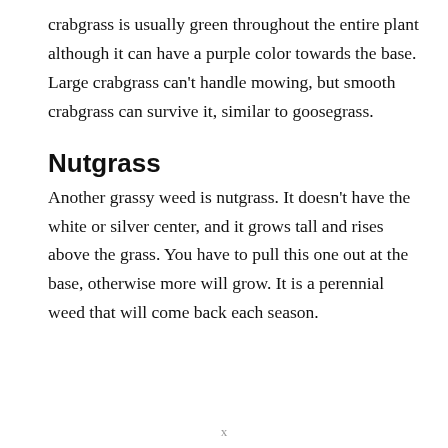crabgrass is usually green throughout the entire plant although it can have a purple color towards the base. Large crabgrass can't handle mowing, but smooth crabgrass can survive it, similar to goosegrass.
Nutgrass
Another grassy weed is nutgrass. It doesn't have the white or silver center, and it grows tall and rises above the grass. You have to pull this one out at the base, otherwise more will grow. It is a perennial weed that will come back each season.
x